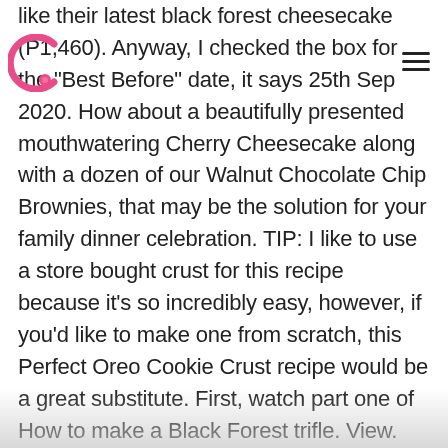like their latest black forest cheesecake (P1,460). Anyway, I checked the box for the "Best Before" date, it says 25th Sep 2020. How about a beautifully presented mouthwatering Cherry Cheesecake along with a dozen of our Walnut Chocolate Chip Brownies, that may be the solution for your family dinner celebration. TIP: I like to use a store bought crust for this recipe because it's so incredibly easy, however, if you'd like to make one from scratch, this Perfect Oreo Cookie Crust recipe would be a great substitute. First, watch part one of How to make a Black Forest trifle. View. $20.00 – $40.00 This is our signature cheesecake that is a step down from our triple chocolate cheesecake. 24cm dia. Eileen, a Pressure Cooking Today reader, recently contacted me asking for help converting a cheesecake recipe to a pressure cooker cheesecake … Spoon about a third of the mixture over the cherries. Black Forest